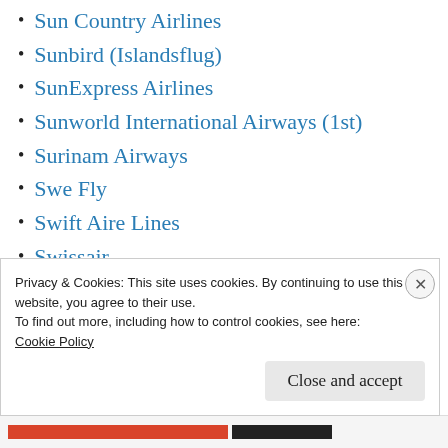Sun Country Airlines
Sunbird (Islandsflug)
SunExpress Airlines
Sunworld International Airways (1st)
Surinam Airways
Swe Fly
Swift Aire Lines
Swissair
Syrian Arab Airlines
Syrianair
Privacy & Cookies: This site uses cookies. By continuing to use this website, you agree to their use.
To find out more, including how to control cookies, see here: Cookie Policy
Close and accept